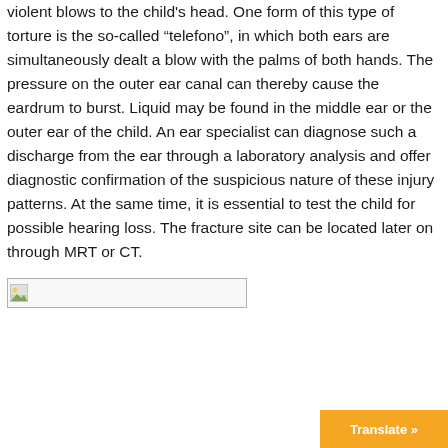violent blows to the child's head. One form of this type of torture is the so-called “telefono”, in which both ears are simultaneously dealt a blow with the palms of both hands. The pressure on the outer ear canal can thereby cause the eardrum to burst. Liquid may be found in the middle ear or the outer ear of the child. An ear specialist can diagnose such a discharge from the ear through a laboratory analysis and offer diagnostic confirmation of the suspicious nature of these injury patterns. At the same time, it is essential to test the child for possible hearing loss. The fracture site can be located later on through MRT or CT.
[Figure (photo): Broken/unavailable image placeholder with small landscape icon]